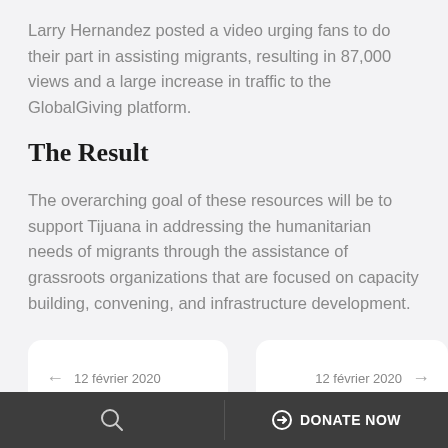Larry Hernandez posted a video urging fans to do their part in assisting migrants, resulting in 87,000 views and a large increase in traffic to the GlobalGiving platform.
The Result
The overarching goal of these resources will be to support Tijuana in addressing the humanitarian needs of migrants through the assistance of grassroots organizations that are focused on capacity building, convening, and infrastructure development.
← 12 février 2020
12 février 2020 →
🔍   DONATE NOW